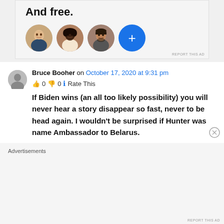[Figure (screenshot): Advertisement banner with bold text 'And free.' and four circular avatars (three person photos and one blue plus button)]
REPORT THIS AD
Bruce Booher on October 17, 2020 at 9:31 pm
👍 0 👎 0 ℹ️ Rate This
If Biden wins (an all too likely possibility) you will never hear a story disappear so fast, never to be head again. I wouldn't be surprised if Hunter was name Ambassador to Belarus.
Advertisements
REPORT THIS AD